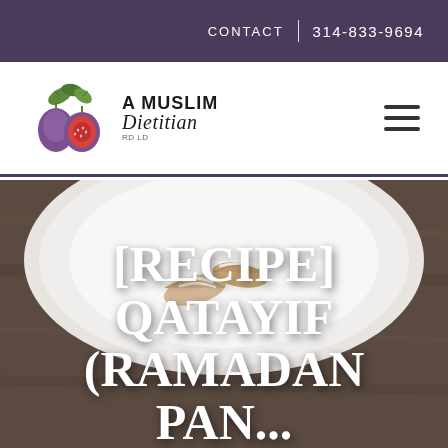CONTACT | 314-833-9694
[Figure (logo): A Muslim Dietitian logo with fig fruit illustration and text]
[Figure (photo): Food photo showing qatayif (Ramadan pancakes) on a white plate, overhead view, dark background]
[RECIPE] QATAYIF (RAMADAN PANCAKES)